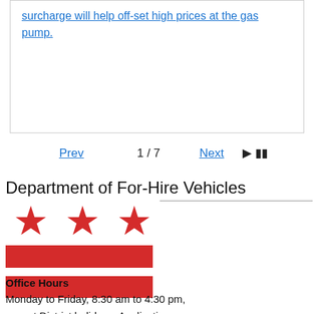surcharge will help off-set high prices at the gas pump.
Prev  1 / 7  Next  ▶ ⏸
Department of For-Hire Vehicles
[Figure (illustration): DC flag with three red stars and two red horizontal bars on white background]
Office Hours
Monday to Friday, 8:30 am to 4:30 pm, except District holidays. Applications